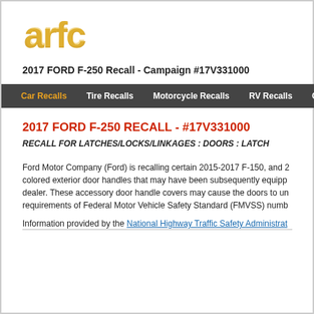[Figure (logo): ARFC logo in orange/gold stylized text]
2017 FORD F-250 Recall - Campaign #17V331000
Car Recalls  Tire Recalls  Motorcycle Recalls  RV Recalls  Co...
2017 FORD F-250 RECALL - #17V331000
RECALL FOR LATCHES/LOCKS/LINKAGES : DOORS : LATCH
Ford Motor Company (Ford) is recalling certain 2015-2017 F-150, and 2 colored exterior door handles that may have been subsequently equipp dealer. These accessory door handle covers may cause the doors to un requirements of Federal Motor Vehicle Safety Standard (FMVSS) numb
Information provided by the National Highway Traffic Safety Administrat